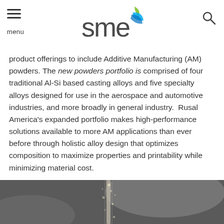SME — menu / search
product offerings to include Additive Manufacturing (AM) powders. The new powders portfolio is comprised of four traditional Al-Si based casting alloys and five specialty alloys designed for use in the aerospace and automotive industries, and more broadly in general industry. Rusal America's expanded portfolio makes high-performance solutions available to more AM applications than ever before through holistic alloy design that optimizes composition to maximize properties and printability while minimizing material cost.
[Figure (photo): Black and white close-up photograph of metal powder stream or jet, likely showing additive manufacturing powder material being dispensed or falling vertically against a blurred grey background.]